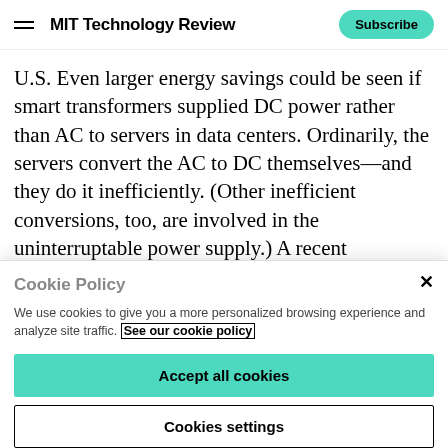MIT Technology Review | Subscribe
U.S. Even larger energy savings could be seen if smart transformers supplied DC power rather than AC to servers in data centers. Ordinarily, the servers convert the AC to DC themselves—and they do it inefficiently. (Other inefficient conversions, too, are involved in the uninterruptable power supply.) A recent demonstration of such a system by Duke Energy, a large utility company, and the Electric Power Research Institute found that
Cookie Policy
We use cookies to give you a more personalized browsing experience and analyze site traffic. See our cookie policy
Accept all cookies
Cookies settings